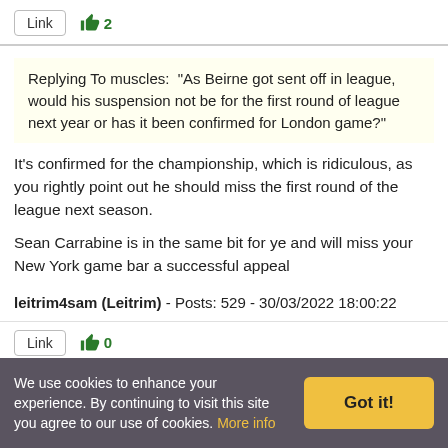Link  👍2
Replying To muscles:  "As Beirne got sent off in league, would his suspension not be for the first round of league next year or has it been confirmed for London game?"
It's confirmed for the championship, which is ridiculous, as you rightly point out he should miss the first round of the league next season.
Sean Carrabine is in the same bit for ye and will miss your New York game bar a successful appeal
leitrim4sam (Leitrim) - Posts: 529 - 30/03/2022 18:00:22
Link  👍0
We use cookies to enhance your experience. By continuing to visit this site you agree to our use of cookies. More info  Got it!